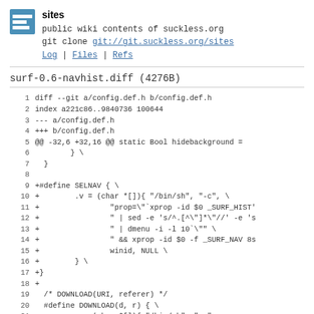sites
public wiki contents of suckless.org
git clone git://git.suckless.org/sites
Log | Files | Refs
surf-0.6-navhist.diff (4276B)
1 diff --git a/config.def.h b/config.def.h
2 index a221c86..9840736 100644
3 --- a/config.def.h
4 +++ b/config.def.h
5 @@ -32,6 +32,16 @@ static Bool hidebackground =
6         } \
7   }
8
9 +#define SELNAV { \
10 +        .v = (char *[]){ "/bin/sh", "-c", \
11 +                "prop=`xprop -id $0 _SURF_HIST'
12 +                " | sed -e 's/^.[^"]*/"//'
13 +                " | dmenu -i -l 10`\"" \
14 +                " && xprop -id $0 -f _SURF_NAV 8s
15 +                winid, NULL \
16 +        } \
17 +}
18 +
19   /* DOWNLOAD(URI, referer) */
20   #define DOWNLOAD(d, r) { \
21         .v = (char *[]){ "/bin/sh", "-c",